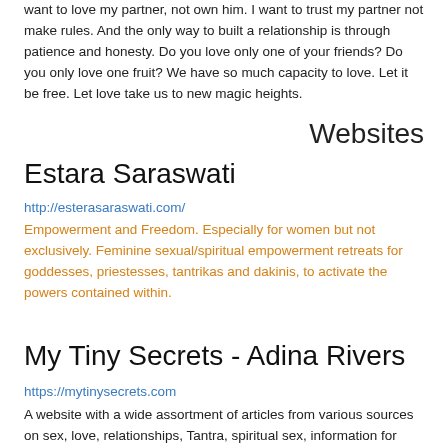want to love my partner, not own him. I want to trust my partner not make rules. And the only way to built a relationship is through patience and honesty. Do you love only one of your friends? Do you only love one fruit? We have so much capacity to love. Let it be free. Let love take us to new magic heights.
Websites
Estara Saraswati
http://esterasaraswati.com/
Empowerment and Freedom. Especially for women but not exclusively. Feminine sexual/spiritual empowerment retreats for goddesses, priestesses, tantrikas and dakinis, to activate the powers contained within.
My Tiny Secrets - Adina Rivers
https://mytinysecrets.com
A website with a wide assortment of articles from various sources on sex, love, relationships, Tantra, spiritual sex, information for women